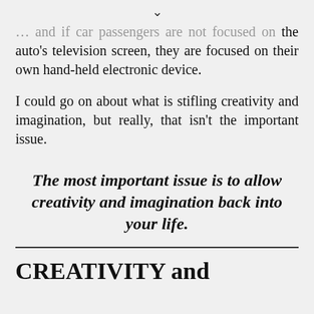… and if car passengers are not focused on the auto's television screen, they are focused on their own hand-held electronic device.
I could go on about what is stifling creativity and imagination, but really, that isn't the important issue.
The most important issue is to allow creativity and imagination back into your life.
CREATIVITY and